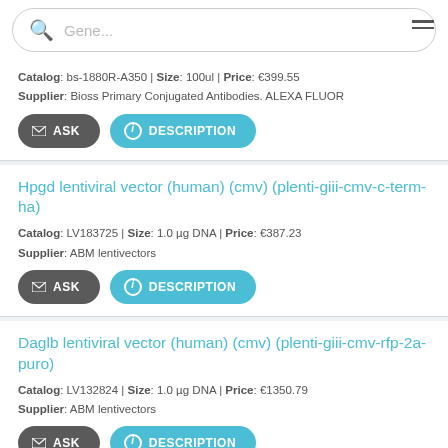Gene... [search bar]
Catalog: bs-1880R-A350 | Size: 100ul | Price: €399.55
Supplier: Bioss Primary Conjugated Antibodies. ALEXA FLUOR
Hpgd lentiviral vector (human) (cmv) (plenti-giii-cmv-c-term-ha)
Catalog: LV183725 | Size: 1.0 µg DNA | Price: €387.23
Supplier: ABM lentivectors
Daglb lentiviral vector (human) (cmv) (plenti-giii-cmv-rfp-2a-puro)
Catalog: LV132824 | Size: 1.0 µg DNA | Price: €1350.79
Supplier: ABM lentivectors